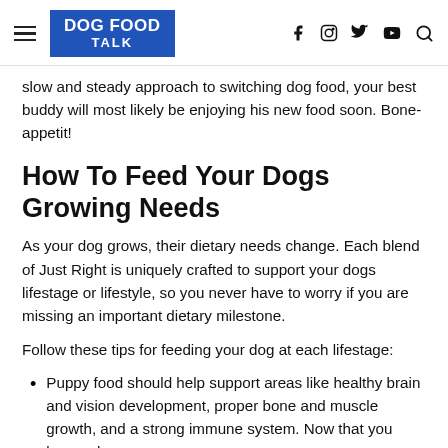DOG FOOD TALK
slow and steady approach to switching dog food, your best buddy will most likely be enjoying his new food soon. Bone-appetit!
How To Feed Your Dogs Growing Needs
As your dog grows, their dietary needs change. Each blend of Just Right is uniquely crafted to support your dogs lifestage or lifestyle, so you never have to worry if you are missing an important dietary milestone.
Follow these tips for feeding your dog at each lifestage:
Puppy food should help support areas like healthy brain and vision development, proper bone and muscle growth, and a strong immune system. Now that you know when...